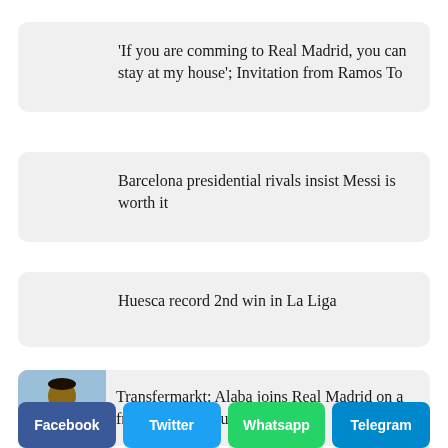'If you are comming to Real Madrid, you can stay at my house'; Invitation from Ramos To
Barcelona presidential rivals insist Messi is worth it
Huesca record 2nd win in La Liga
[Figure (photo): Photo of David Alaba in Bayern Munich red jersey]
Transfermarkt: Alaba joins Real Madrid on a free transfer in July
Facebook
Twitter
Whatsapp
Telegram